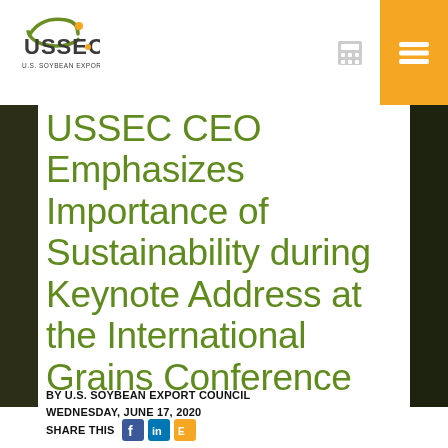USSEC - U.S. Soybean Export Council
USSEC CEO Emphasizes Importance of Sustainability during Keynote Address at the International Grains Conference
BY U.S. SOYBEAN EXPORT COUNCIL
WEDNESDAY, JUNE 17, 2020
SHARE THIS